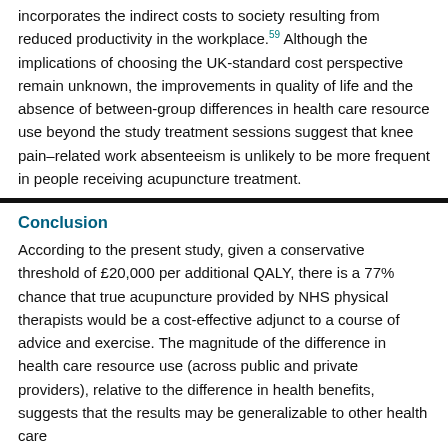incorporates the indirect costs to society resulting from reduced productivity in the workplace.59 Although the implications of choosing the UK-standard cost perspective remain unknown, the improvements in quality of life and the absence of between-group differences in health care resource use beyond the study treatment sessions suggest that knee pain–related work absenteeism is unlikely to be more frequent in people receiving acupuncture treatment.
Conclusion
According to the present study, given a conservative threshold of £20,000 per additional QALY, there is a 77% chance that true acupuncture provided by NHS physical therapists would be a cost-effective adjunct to a course of advice and exercise. The magnitude of the difference in health care resource use (across public and private providers), relative to the difference in health benefits, suggests that the results may be generalizable to other health care